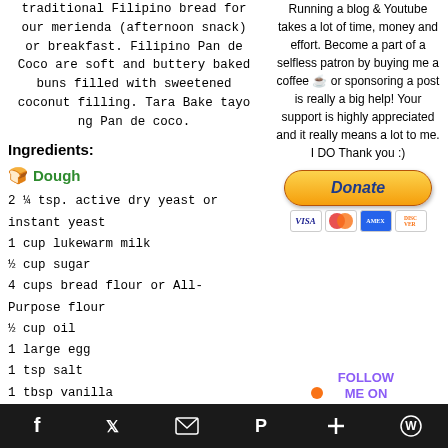traditional Filipino bread for our merienda (afternoon snack) or breakfast. Filipino Pan de Coco are soft and buttery baked buns filled with sweetened coconut filling. Tara Bake tayo ng Pan de coco.
Ingredients:
🍞 Dough
2 ¼ tsp. active dry yeast or instant yeast
1 cup lukewarm milk
½ cup sugar
4 cups bread flour or All-Purpose flour
½ cup oil
1 large egg
1 tsp salt
1 tbsp vanilla
Running a blog & Youtube takes a lot of time, money and effort. Become a part of a selfless patron by buying me a coffee ☕ or sponsoring a post is really a big help! Your support is highly appreciated and it really means a lot to me. I DO Thank you :)
[Figure (other): Donate button with PayPal styling and credit card icons (VISA, Mastercard, Amex, Discover)]
🟠 FOLLOW ME ON INSTAGRAM
Social share bar with icons: Facebook, Twitter, Email, Pinterest, Plus, WordPress